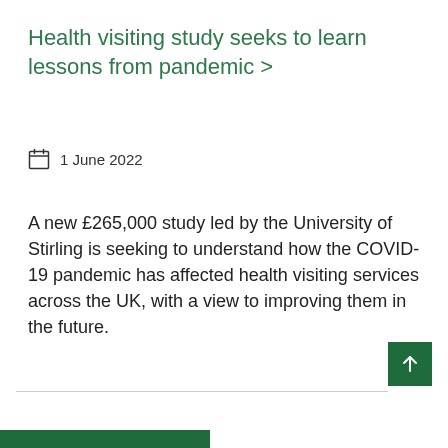Health visiting study seeks to learn lessons from pandemic >
1 June 2022
A new £265,000 study led by the University of Stirling is seeking to understand how the COVID-19 pandemic has affected health visiting services across the UK, with a view to improving them in the future.